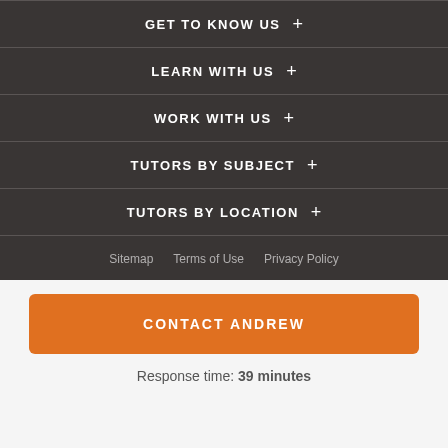GET TO KNOW US +
LEARN WITH US +
WORK WITH US +
TUTORS BY SUBJECT +
TUTORS BY LOCATION +
Sitemap   Terms of Use   Privacy Policy
CONTACT ANDREW
Response time: 39 minutes